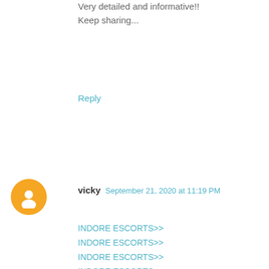Very detailed and informative!!
Keep sharing...
Reply
vicky  September 21, 2020 at 11:19 PM
INDORE ESCORTS>>
INDORE ESCORTS>>
INDORE ESCORTS>>
INDORE ESCORTS>>
INDORE ESCORT>>
INDORE ESCORTS>>
INDORE ESCORT>>
UDAIPUR ESCORT>>
UDAIPUR ESCORT>>
UDAIPUR ESCORTS>>
Reply
vicky  September 21, 2020 at 11:59 PM